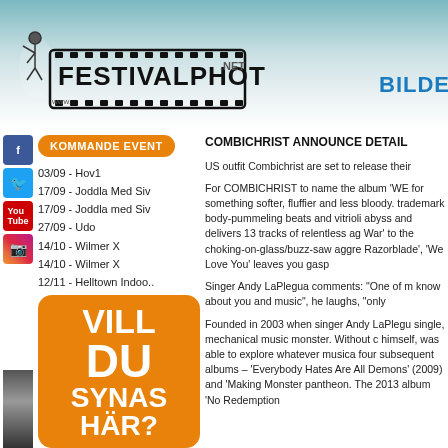[Figure (logo): FestivalPhoto.net logo with film strip design and dancer silhouette]
BILDE
KOMMANDE EVENT
03/09 - Hov1
17/09 - Joddla Med Siv
17/09 - Joddla med Siv
27/09 - Udo
14/10 - Wilmer X
14/10 - Wilmer X
12/11 - Helltown Indoo..
[Figure (infographic): Orange rounded rectangle banner with white bold text: VILL DU SYNAS HÄR?]
COMBICHRIST ANNOUNCE DETAIL
US outfit Combichrist are set to release their
For COMBICHRIST to name the album 'WE for something softer, fluffier and less bloody. trademark body-pummeling beats and vitrioli abyss and delivers 13 tracks of relentless ag War' to the choking-on-glass/buzz-saw aggre Razorblade', 'We Love You' leaves you gasp
Singer Andy LaPlegua comments: "One of m know about you and music", he laughs, "only
Founded in 2003 when singer Andy LaPlegu single, mechanical music monster. Without c himself, was able to explore whatever musica four subsequent albums – 'Everybody Hates Are All Demons' (2009) and 'Making Monster pantheon. The 2013 album 'No Redemption